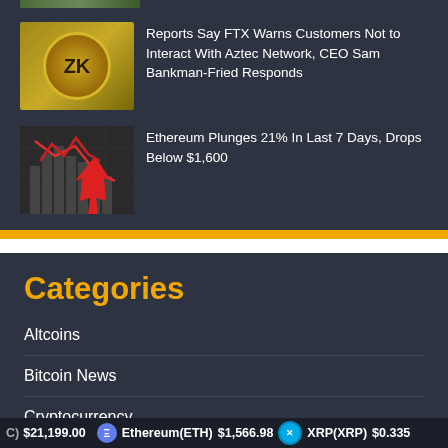[Figure (photo): Partial view of ZK token coin image at top]
[Figure (photo): ZK token gold coin thumbnail]
Reports Say FTX Warns Customers Not to Interact With Aztec Network, CEO Sam Bankman-Fried Responds
[Figure (photo): Red downward arrow chart on dark background representing Ethereum price drop]
Ethereum Plunges 21% In Last 7 Days, Drops Below $1,600
Categories
Altcoins
Bitcoin News
Cryptocurrency
(C) $21,199.00  Ethereum(ETH) $1,566.98  XRP(XRP) $0.335